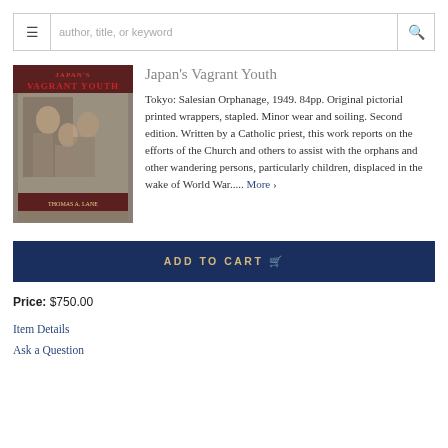author, title, or keyword [search bar]
[Figure (photo): Black and white photo of book cover 'Japan's Vagrant Youth' showing children in post-war Japan]
Japan's Vagrant Youth
Tokyo: Salesian Orphanage, 1949. 84pp. Original pictorial printed wrappers, stapled. Minor wear and soiling. Second edition. Written by a Catholic priest, this work reports on the efforts of the Church and others to assist with the orphans and other wandering persons, particularly children, displaced in the wake of World War..... More >
ADD TO CART
Price: $750.00
Item Details
Ask a Question